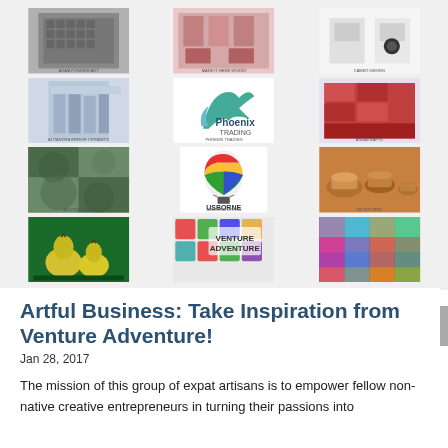[Figure (photo): Grid of 12 product/vendor photos including artwork, ceramics, design products, Phoenix Trading logo, Usborne Books logo, Venture Adventure logo, and various craft items with small captions below each.]
Artful Business: Take Inspiration from Venture Adventure!
Jan 28, 2017
The mission of this group of expat artisans is to empower fellow non-native creative entrepreneurs in turning their passions into